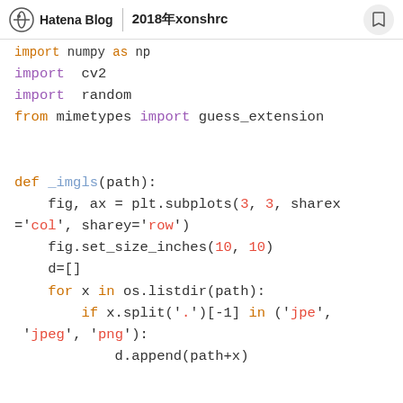Hatena Blog | 2018年xonshrc
import numpy as np
import cv2
import random
from mimetypes import guess_extension


def _imgls(path):
    fig, ax = plt.subplots(3, 3, sharex='col', sharey='row')
    fig.set_size_inches(10, 10)
    d=[]
    for x in os.listdir(path):
        if x.split('.')[-1] in ('jpe', 'jpeg', 'png'):
            d.append(path+x)